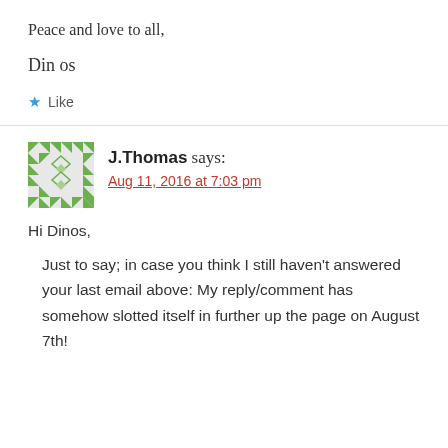Peace and love to all,
Din os
★ Like
J.Thomas says:
Aug 11, 2016 at 7:03 pm
Hi Dinos,
Just to say; in case you think I still haven't answered your last email above: My reply/comment has somehow slotted itself in further up the page on August 7th!